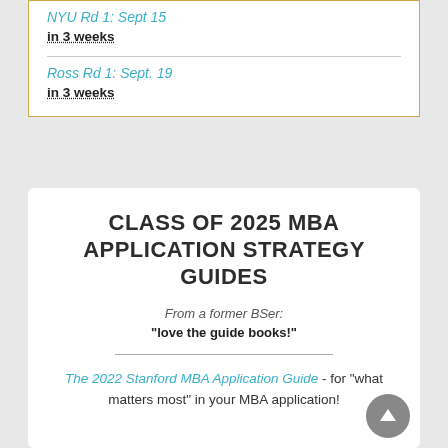NYU Rd 1: Sept 15
in 3 weeks
Ross Rd 1: Sept. 19
in 3 weeks
CLASS OF 2025 MBA APPLICATION STRATEGY GUIDES
From a former BSer:
"love the guide books!"
The 2022 Stanford MBA Application Guide - for "what matters most" in your MBA application!